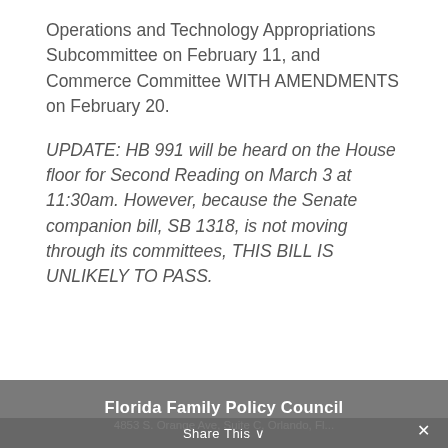Operations and Technology Appropriations Subcommittee on February 11, and Commerce Committee WITH AMENDMENTS on February 20.
UPDATE: HB 991 will be heard on the House floor for Second Reading on March 3 at 11:30am. However, because the Senate companion bill, SB 1318, is not moving through its committees, THIS BILL IS UNLIKELY TO PASS.
Florida Family Policy Council
Share This ∨